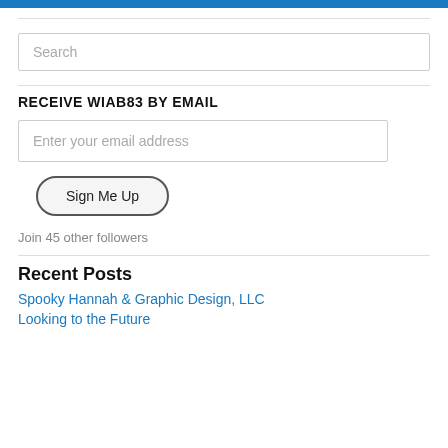Search
RECEIVE WIAB83 BY EMAIL
Enter your email address
Sign Me Up
Join 45 other followers
Recent Posts
Spooky Hannah & Graphic Design, LLC
Looking to the Future